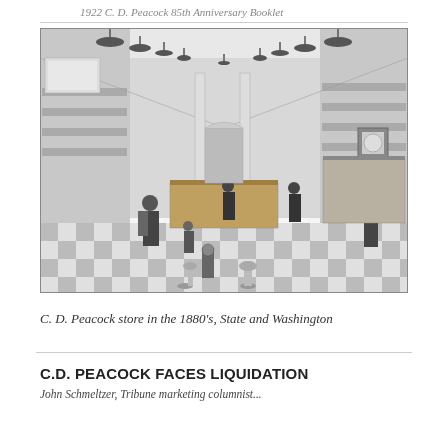1922 C. D. Peacock 85th Anniversary Booklet
[Figure (illustration): Black and white engraving of the interior of the C. D. Peacock jewelry store in the 1880s, located at State and Washington in Chicago. The scene shows a long, ornate retail floor with decorative ceiling lamps, tall white columns, display cases along the walls, and several customers and staff. A checkerboard floor is visible in the foreground.]
C. D. Peacock store in the 1880's, State and Washington
C.D. PEACOCK FACES LIQUIDATION
John Schmeltzer, Tribune marketing columnist...